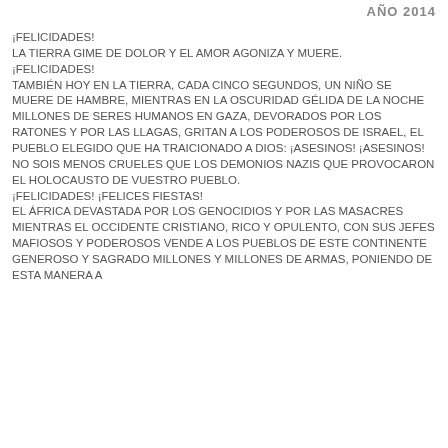AÑO 2014
¡FELICIDADES!
LA TIERRA GIME DE DOLOR Y EL AMOR AGONIZA Y MUERE.
¡FELICIDADES!
TAMBIÉN HOY EN LA TIERRA, CADA CINCO SEGUNDOS, UN NIÑO SE MUERE DE HAMBRE, MIENTRAS EN LA OSCURIDAD GÉLIDA DE LA NOCHE MILLONES DE SERES HUMANOS EN GAZA, DEVORADOS POR LOS RATONES Y POR LAS LLAGAS, GRITAN A LOS PODEROSOS DE ISRAEL, EL PUEBLO ELEGIDO QUE HA TRAICIONADO A DIOS: ¡ASESINOS! ¡ASESINOS! NO SOIS MENOS CRUELES QUE LOS DEMONIOS NAZIS QUE PROVOCARON EL HOLOCAUSTO DE VUESTRO PUEBLO.
¡FELICIDADES! ¡FELICES FIESTAS!
EL ÁFRICA DEVASTADA POR LOS GENOCIDIOS Y POR LAS MASACRES MIENTRAS EL OCCIDENTE CRISTIANO, RICO Y OPULENTO, CON SUS JEFES MAFIOSOS Y PODEROSOS VENDE A LOS PUEBLOS DE ESTE CONTINENTE GENEROSO Y SAGRADO MILLONES Y MILLONES DE ARMAS, PONIENDO DE ESTA MANERA A